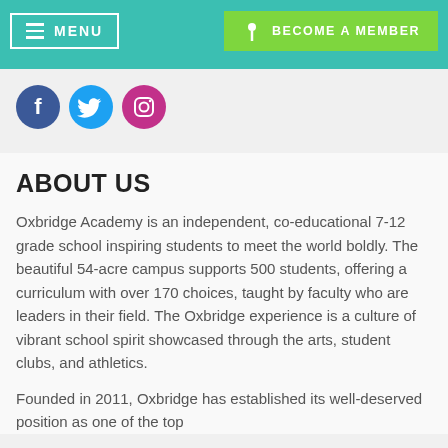MENU | BECOME A MEMBER
[Figure (illustration): Social media icons: Facebook (blue circle), Twitter (cyan circle), Instagram (pink/magenta circle)]
ABOUT US
Oxbridge Academy is an independent, co-educational 7-12 grade school inspiring students to meet the world boldly. The beautiful 54-acre campus supports 500 students, offering a curriculum with over 170 choices, taught by faculty who are leaders in their field. The Oxbridge experience is a culture of vibrant school spirit showcased through the arts, student clubs, and athletics.
Founded in 2011, Oxbridge has established its well-deserved position as one of the top